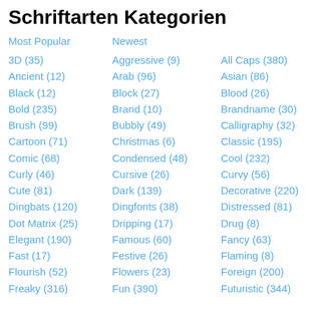Schriftarten Kategorien
Most Popular
Newest
3D (35)
Aggressive (9)
All Caps (380)
Ancient (12)
Arab (96)
Asian (86)
Black (12)
Block (27)
Blood (26)
Bold (235)
Brand (10)
Brandname (30)
Brush (99)
Bubbly (49)
Calligraphy (32)
Cartoon (71)
Christmas (6)
Classic (195)
Comic (68)
Condensed (48)
Cool (232)
Curly (46)
Cursive (26)
Curvy (56)
Cute (81)
Dark (139)
Decorative (220)
Dingbats (120)
Dingfonts (38)
Distressed (81)
Dot Matrix (25)
Dripping (17)
Drug (8)
Elegant (190)
Famous (60)
Fancy (63)
Fast (17)
Festive (26)
Flaming (8)
Flourish (52)
Flowers (23)
Foreign (200)
Freaky (316)
Fun (390)
Futuristic (344)